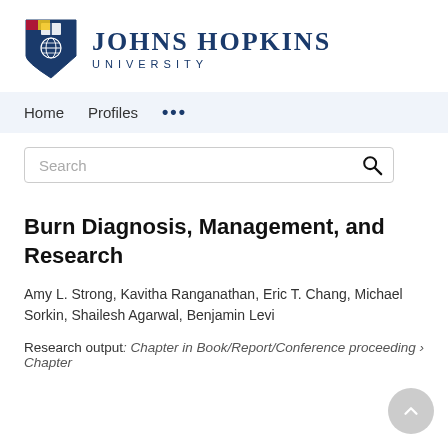[Figure (logo): Johns Hopkins University logo with shield and text]
Home   Profiles   ...
Search
Burn Diagnosis, Management, and Research
Amy L. Strong, Kavitha Ranganathan, Eric T. Chang, Michael Sorkin, Shailesh Agarwal, Benjamin Levi
Research output: Chapter in Book/Report/Conference proceeding › Chapter